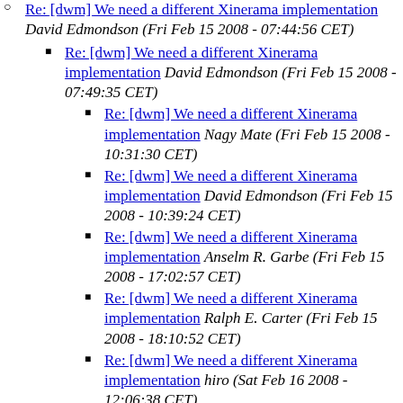Re: [dwm] We need a different Xinerama implementation David Edmondson (Fri Feb 15 2008 - 07:44:56 CET)
Re: [dwm] We need a different Xinerama implementation David Edmondson (Fri Feb 15 2008 - 07:49:35 CET)
Re: [dwm] We need a different Xinerama implementation Nagy Mate (Fri Feb 15 2008 - 10:31:30 CET)
Re: [dwm] We need a different Xinerama implementation David Edmondson (Fri Feb 15 2008 - 10:39:24 CET)
Re: [dwm] We need a different Xinerama implementation Anselm R. Garbe (Fri Feb 15 2008 - 17:02:57 CET)
Re: [dwm] We need a different Xinerama implementation Ralph E. Carter (Fri Feb 15 2008 - 18:10:52 CET)
Re: [dwm] We need a different Xinerama implementation hiro (Sat Feb 16 2008 - 12:06:38 CET)
Re: [dwm] We need a different Xinerama implementation hiro (Thu Feb 21 2008 - 20:06:34 CET)
Re: [dwm] We need a different Xinerama implementation David Edmondson (Thu...